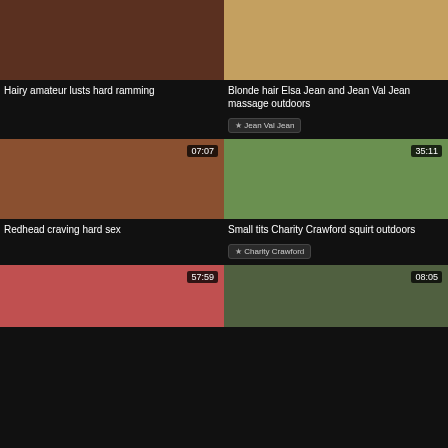[Figure (photo): Thumbnail image top left - amateur content]
Hairy amateur lusts hard ramming
[Figure (photo): Thumbnail image top right - blonde hair massage]
Blonde hair Elsa Jean and Jean Val Jean massage outdoors
Jean Val Jean
[Figure (photo): Thumbnail middle left - redhead, duration 07:07]
Redhead craving hard sex
[Figure (photo): Thumbnail middle right - Charity Crawford outdoors, duration 35:11]
Small tits Charity Crawford squirt outdoors
Charity Crawford
[Figure (photo): Thumbnail bottom left - duration 57:59]
[Figure (photo): Thumbnail bottom right - duration 08:05]